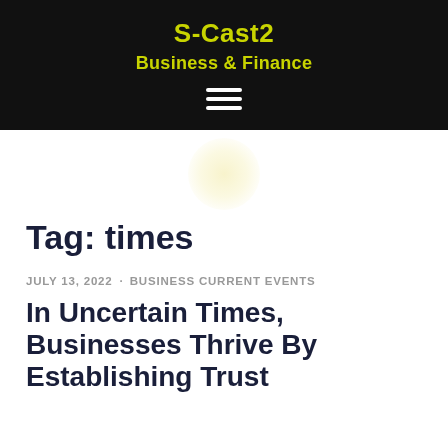S-Cast2
Business & Finance
Tag: times
JULY 13, 2022 · BUSINESS CURRENT EVENTS
In Uncertain Times, Businesses Thrive By Establishing Trust